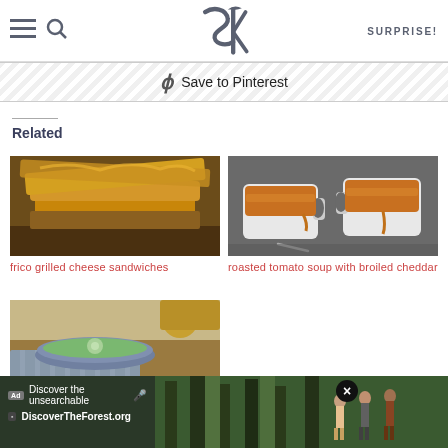SK logo header with hamburger menu, search, and SURPRISE! button
Save to Pinterest
Related
[Figure (photo): Frico grilled cheese sandwiches - stacked golden crispy cheese sandwiches on a wooden surface]
frico grilled cheese sandwiches
[Figure (photo): Roasted tomato soup in two white mugs with broiled cheddar on top, on a dark surface]
roasted tomato soup with broiled cheddar
[Figure (photo): Bowl of green soup, partially visible at bottom of page]
Discover the unsearchable | DiscoverTheForest.org